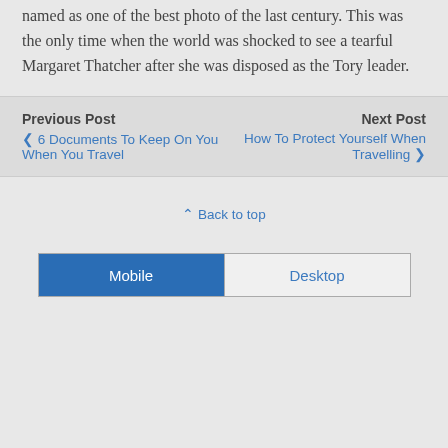named as one of the best photo of the last century. This was the only time when the world was shocked to see a tearful Margaret Thatcher after she was disposed as the Tory leader.
Previous Post
‹ 6 Documents To Keep On You When You Travel
Next Post
How To Protect Yourself When Travelling ›
⋀ Back to top
Mobile   Desktop